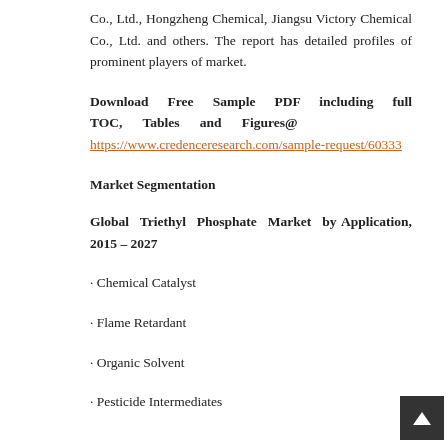Co., Ltd., Hongzheng Chemical, Jiangsu Victory Chemical Co., Ltd. and others. The report has detailed profiles of prominent players of market.
Download Free Sample PDF including full TOC, Tables and Figures@ https://www.credenceresearch.com/sample-request/60333
Market Segmentation
Global Triethyl Phosphate Market by Application, 2015 – 2027
· Chemical Catalyst
· Flame Retardant
· Organic Solvent
· Pesticide Intermediates